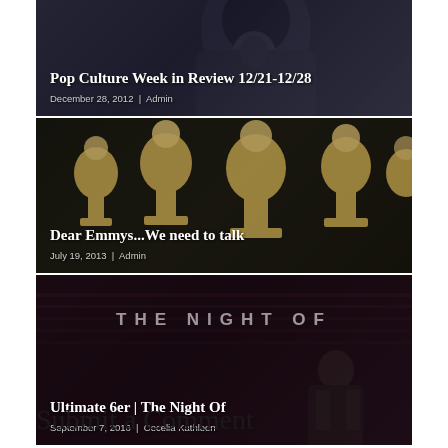[Figure (photo): Card 1: Dark hooded figure background. Title: Pop Culture Week in Review 12/21-12/28. Date: December 28, 2012 | Admin]
[Figure (photo): Card 2: Emmy Award trophies background. Title: Dear Emmys...We need to talk. Date: July 19, 2013 | Admin]
[Figure (photo): Card 3: The Night Of TV show background with person silhouette. Title: Ultimate 6er | The Night Of. Date: September 7, 2016 | Cecelia Kathleen]
Submit a Comment